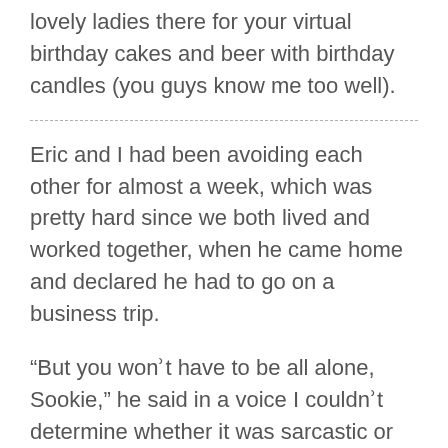lovely ladies there for your virtual birthday cakes and beer with birthday candles (you guys know me too well).
Eric and I had been avoiding each other for almost a week, which was pretty hard since we both lived and worked together, when he came home and declared he had to go on a business trip.
“But you wonʾt have to be all alone, Sookie,” he said in a voice I couldnʾt determine whether it was sarcastic or with real concern for my wellbeing.